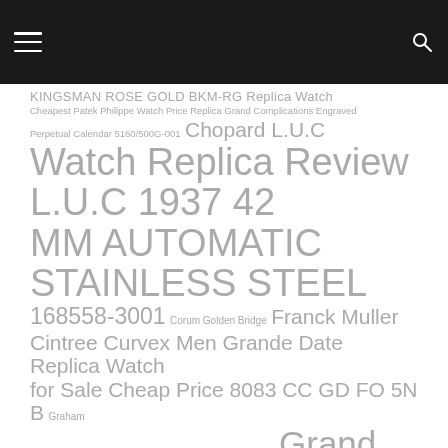Navigation header with menu and search icons
KINGSMAN ROSE GOLD BKM-RG Replica Watch Cheapest Patek Philippe Watch Price Replica Grand Complications Engraved Perpetual Calendar 5160/500G-001 Chopard L.U.C Watch Replica Review L.U.C 1937 42 MM AUTOMATIC STAINLESS STEEL 168558-3001 Corum Golden Bridge Franck Muller Cintree Curvex Men Grande Date Replica Watch for Sale Cheap Price 8083 CC GD FO 5N B Graham Chronofighter GMT 2OVGG.B43A.K10F Replica Watch Grand Seiko Spring Drive Powered Diver Replica Watch SBGA231